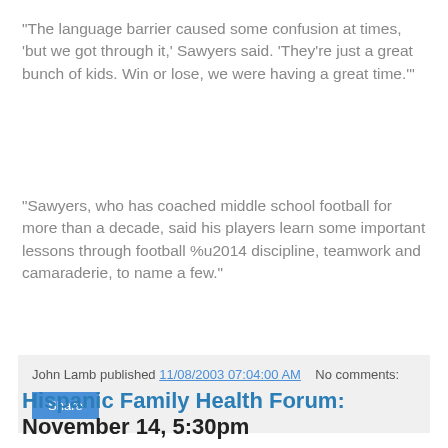"The language barrier caused some confusion at times, 'but we got through it,' Sawyers said. 'They're just a great bunch of kids. Win or lose, we were having a great time.'"
"Sawyers, who has coached middle school football for more than a decade, said his players learn some important lessons through football %u2014 discipline, teamwork and camaraderie, to name a few."
John Lamb published 11/08/2003 07:04:00 AM   No comments:
Share
Hispanic Family Health Forum: November 14, 5:30pm